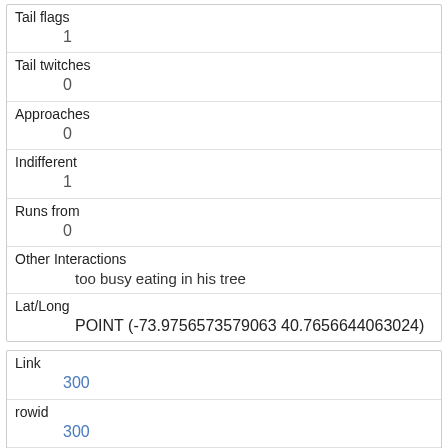| Tail flags | 1 |
| Tail twitches | 0 |
| Approaches | 0 |
| Indifferent | 1 |
| Runs from | 0 |
| Other Interactions | too busy eating in his tree |
| Lat/Long | POINT (-73.9756573579063 40.7656644063024) |
| Link | 300 |
| rowid | 300 |
| longitude | -73.9530149779999 |